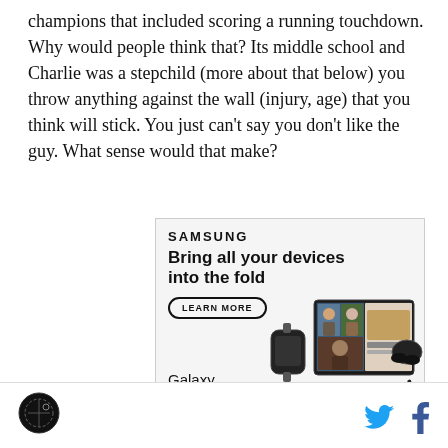champions that included scoring a running touchdown. Why would people think that? Its middle school and Charlie was a stepchild (more about that below) you throw anything against the wall (injury, age) that you think will stick. You just can't say you don't like the guy. What sense would that make?
[Figure (other): Samsung advertisement for Galaxy Z Fold4. Text: 'SAMSUNG', 'Bring all your devices into the fold', 'LEARN MORE' button, 'Galaxy Z Fold4'. Shows laptop/foldable phone with video call and smartwatch.]
Logo icon (left) | Twitter and Facebook social icons (right)